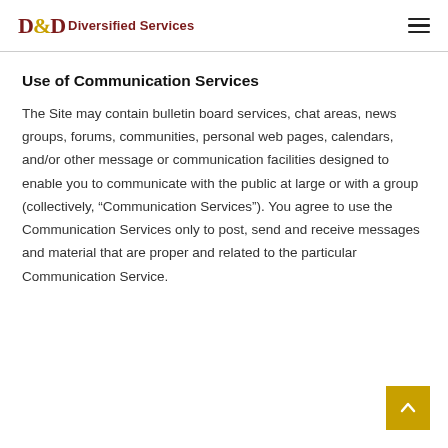D&D Diversified Services
Use of Communication Services
The Site may contain bulletin board services, chat areas, news groups, forums, communities, personal web pages, calendars, and/or other message or communication facilities designed to enable you to communicate with the public at large or with a group (collectively, “Communication Services”). You agree to use the Communication Services only to post, send and receive messages and material that are proper and related to the particular Communication Service.